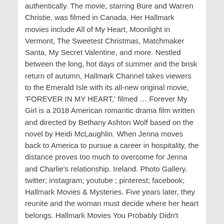authentically. The movie, starring Bure and Warren Christie, was filmed in Canada. Her Hallmark movies include All of My Heart, Moonlight in Vermont, The Sweetest Christmas, Matchmaker Santa, My Secret Valentine, and more. Nestled between the long, hot days of summer and the brisk return of autumn, Hallmark Channel takes viewers to the Emerald Isle with its all-new original movie, 'FOREVER IN MY HEART,' filmed … Forever My Girl is a 2018 American romantic drama film written and directed by Bethany Ashton Wolf based on the novel by Heidi McLaughlin. When Jenna moves back to America to pursue a career in hospitality, the distance proves too much to overcome for Jenna and Charlie's relationship. Ireland. Photo Gallery. twitter; instagram; youtube ; pinterest; facebook; Hallmark Movies & Mysteries. Five years later, they reunite and the woman must decide where her heart belongs. Hallmark Movies You Probably Didn't Know Were Actually Filmed in the South ... sweet-natured characters, and—of course—the promise of heart-warming romance. Celebrating The Soaps - Latest soap opera spoilers, news and exclusive updates for The Young and The Restless, Days of Our Lives, General Hospital and The Bold and the Beautiful. While working in a family-run inn in Ireland, Jenna (Merritt Patterson) falls in